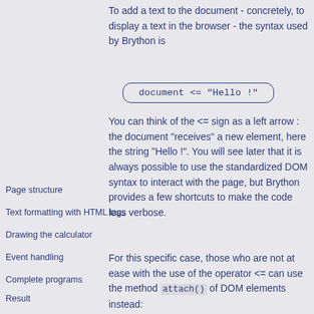To add a text to the document - concretely, to display a text in the browser - the syntax used by Brython is
Page structure
Text formatting with HTML tags
Drawing the calculator
Event handling
Complete programs
Result
You can think of the <= sign as a left arrow : the document "receives" a new element, here the string "Hello !". You will see later that it is always possible to use the standardized DOM syntax to interact with the page, but Brython provides a few shortcuts to make the code less verbose.
For this specific case, those who are not at ease with the use of the operator <= can use the method attach() of DOM elements instead: